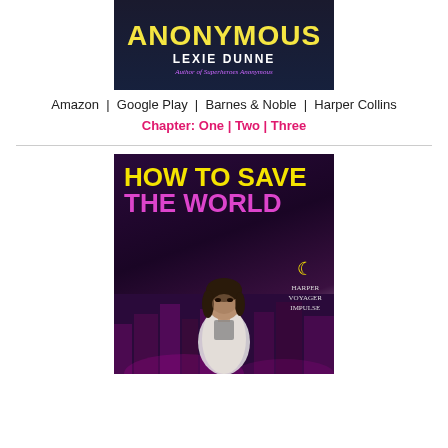[Figure (illustration): Book cover for 'Superheroes Anonymous' by Lexie Dunne. Dark blue background. Title in yellow, author name in white bold, subtitle in pink italic 'Author of Superheroes Anonymous'.]
Amazon | Google Play | Barnes & Noble | Harper Collins
Chapter: One | Two | Three
[Figure (illustration): Book cover for 'How to Save the World' by Lexie Dunne. Dark purple/magenta background with cityscape. Title in large yellow and pink text. Woman in foreground. Harper Voyager Impulse logo with crescent moon in white/yellow at bottom right.]